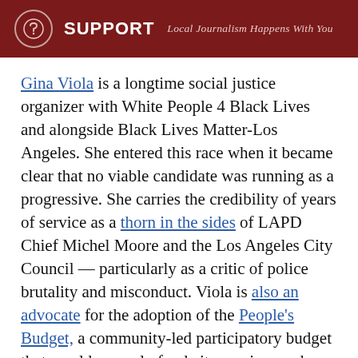SUPPORT  Local Journalism Happens With You
Gina Viola is a longtime social justice organizer with White People 4 Black Lives and alongside Black Lives Matter-Los Angeles. She entered this race when it became clear that no viable candidate was running as a progressive. She carries the credibility of years of service as a thorn in the sides of LAPD Chief Michel Moore and the Los Angeles City Council — particularly as a critic of police brutality and misconduct. Viola is also an advocate for the adoption of the People's Budget, a community-led participatory budget that would properly fund city services and departments beside the LAPD. She has also been an active member in the LAPC Fails coalition